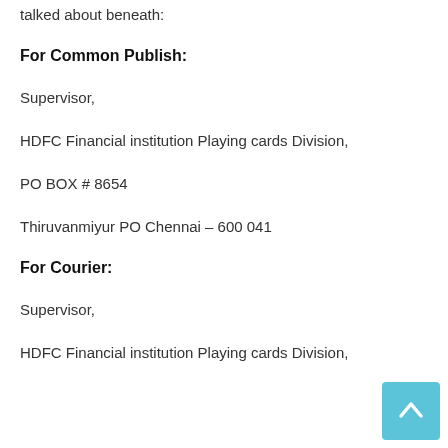talked about beneath:
For Common Publish:
Supervisor,
HDFC Financial institution Playing cards Division,
PO BOX # 8654
Thiruvanmiyur PO Chennai – 600 041
For Courier:
Supervisor,
HDFC Financial institution Playing cards Division,